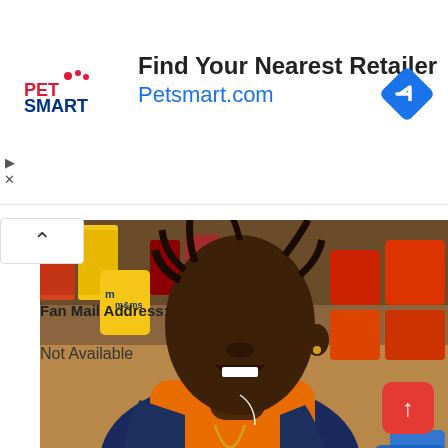[Figure (advertisement): PetSmart advertisement banner with logo, headline 'Find Your Nearest Retailer', URL 'Petsmart.com', and a blue diamond navigation icon on the right.]
[Figure (photo): Photo of a young person wearing an orange hoodie and navy blue puffer vest with a gold chain necklace, standing in front of store shelves stocked with candy including M&Ms. They are looking upward with mouth slightly open. Blue branded items visible at bottom.]
Fan Mail Address:
Not Available